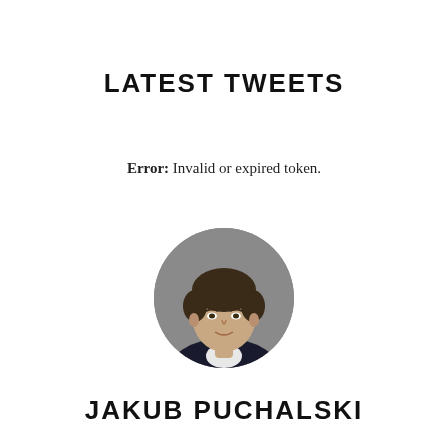LATEST TWEETS
Error: Invalid or expired token.
[Figure (photo): Circular headshot of Jakub Puchalski, a man with short dark hair wearing a dark jacket and white shirt, against a gray background.]
JAKUB PUCHALSKI